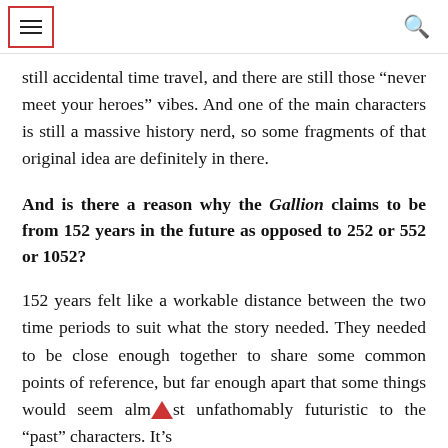[menu icon] [search icon]
still accidental time travel, and there are still those “never meet your heroes” vibes. And one of the main characters is still a massive history nerd, so some fragments of that original idea are definitely in there.
And is there a reason why the Gallion claims to be from 152 years in the future as opposed to 252 or 552 or 1052?
152 years felt like a workable distance between the two time periods to suit what the story needed. They needed to be close enough together to share some common points of reference, but far enough apart that some things would seem almost unfathomably futuristic to the “past” characters. It’s